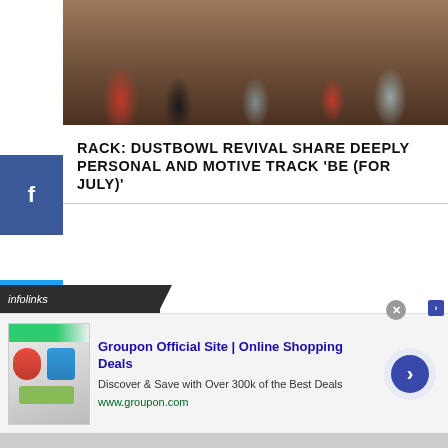[Figure (photo): Group of people sitting together in a room, partial view, dark background]
RACK: DUSTBOWL REVIVAL SHARE DEEPLY PERSONAL AND MOTIVE TRACK 'BE (FOR JULY)'
[Figure (screenshot): Social media share buttons: Facebook, Twitter, Pinterest, LinkedIn, Tumblr on left sidebar]
[Figure (screenshot): Infolinks advertisement bar and Groupon advertisement banner at bottom of page]